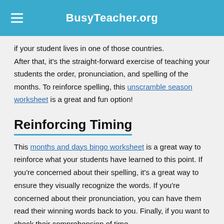BusyTeacher.org
if your student lives in one of those countries. After that, it's the straight-forward exercise of teaching your students the order, pronunciation, and spelling of the months. To reinforce spelling, this unscramble season worksheet is a great and fun option!
Reinforcing Timing
This months and days bingo worksheet is a great way to reinforce what your students have learned to this point. If you're concerned about their spelling, it's a great way to ensure they visually recognize the words. If you're concerned about their pronunciation, you can have them read their winning words back to you. Finally, if you want to check their comprehension of time,